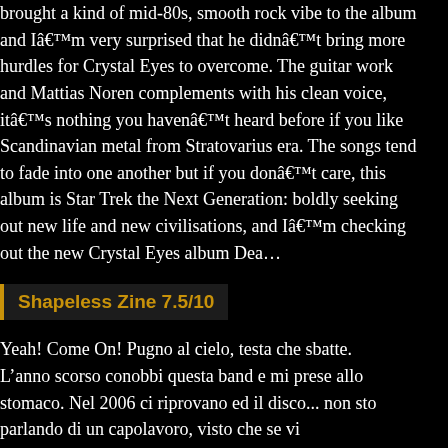brought a kind of mid-80s, smooth rock vibe to the album and I'm very surprised that he didn't bring more hurdles for Crystal Eyes to overcome. The guitar work and Mattias Noren complements with his clean voice, it's nothing you haven't heard before if you like Scandinavian metal from Stratovarius era. The songs tend to fade into one another but if you don't care, this album is Star Trek the Next Generation: boldly seeking out new life and new civilisations, and I'm checking out the new Crystal Eyes album Dead City Dreaming.
Shapeless Zine 7.5/10
Yeah! Come On! Pugno al cielo, testa che sbatte. L'anno scorso conobbi questa band e mi prese allo stomaco. Nel 2006 ci riprovano ed il disco... non sto parlando di un capolavoro, visto che se vi piacciono Accept, Judas Priest e Black Sabbath e avete sentito l'ultimo degli Hammerfall? Eccolo. Allo stesso tempo dinamici a cavalcate metalliche, la chitarra svolge ottimamente il compito di opener e fa una cosa grandiosa nel creare in tutti i pezzi la voglia di l'headbanging, quindi se vi piacciono i suoni pesanti allora questo è il vostro CD. Più basso, che poi la fa doppiare dal cantato, con un non comune per intensità o cattiveria, comunque serve un tocco celtico con una voce molte vicino ai Thin Lizzy. Non potrete fermare la testa tanto facilmente dalla chitarra e dalla batteria, e poi cadenzati con taste la band ha fatto grandi cose, se poi ci aggiungiamo i testi fanno che dare ancora più risalto alla musica che è grandiosa e incazzata quanto basta, e anche interessante visto che gli Accept hanno